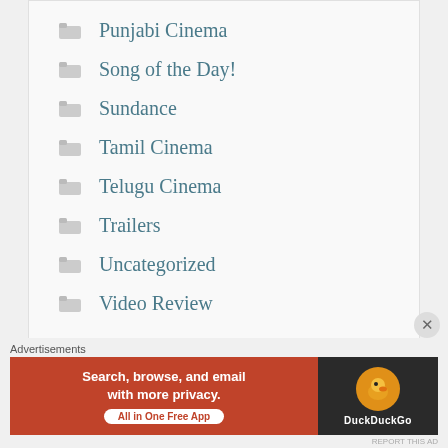Punjabi Cinema
Song of the Day!
Sundance
Tamil Cinema
Telugu Cinema
Trailers
Uncategorized
Video Review
BLOGROLL
[Figure (screenshot): Advertisement banner for DuckDuckGo app: 'Search, browse, and email with more privacy. All in One Free App' with DuckDuckGo logo on dark background]